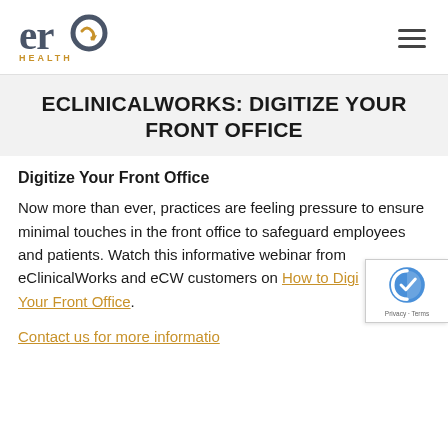ero HEALTH — navigation header with hamburger menu
ECLINICALWORKS: DIGITIZE YOUR FRONT OFFICE
Digitize Your Front Office
Now more than ever, practices are feeling pressure to ensure minimal touches in the front office to safeguard employees and patients. Watch this informative webinar from eClinicalWorks and eCW customers on How to Digitize Your Front Office.
Contact us for more information